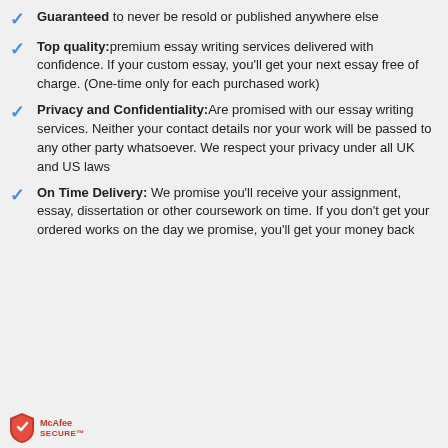Guaranteed to never be resold or published anywhere else
Top quality: premium essay writing services delivered with confidence. If your custom essay, you'll get your next essay free of charge. (One-time only for each purchased work)
Privacy and Confidentiality: Are promised with our essay writing services. Neither your contact details nor your work will be passed to any other party whatsoever. We respect your privacy under all UK and US laws
On Time Delivery: We promise you'll receive your assignment, essay, dissertation or other coursework on time. If you don't get your ordered works on the day we promise, you'll get your money back
[Figure (logo): McAfee SECURE logo with shield icon]